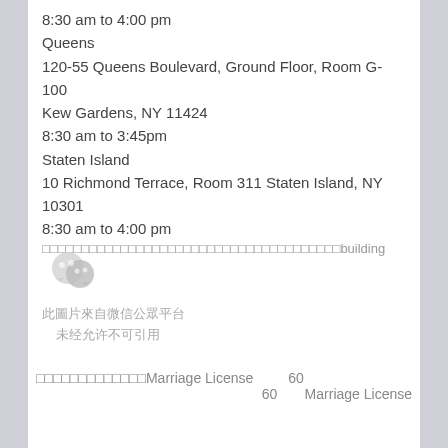8:30 am to 4:00 pm
Queens
120-55 Queens Boulevard, Ground Floor, Room G-100
Kew Gardens, NY 11424
8:30 am to 3:45pm
Staten Island
10 Richmond Terrace, Room 311 Staten Island, NY 10301
8:30 am to 4:00 pm
□□□□□□□□□□□□□□□□□□□□□□□□□□□□□□□□□□□□□□building ~
[Figure (logo): WeChat logo icon - two overlapping speech bubble icons in gray]
此圖片來自微信公眾平台
未经允许不可引用
□□□□□□□□□□□□□Marriage License    60
60     Marriage License